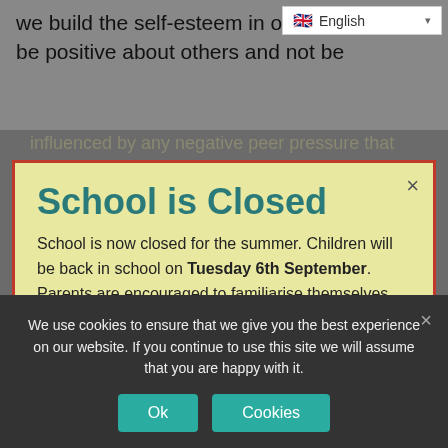we build the self-esteem in our strategies to be positive about others and not be influenced by any negative peer pressure that they may encounter.
School is Closed
School is now closed for the summer. Children will be back in school on Tuesday 6th September. Parents are encouraged to familiarise themselves with the 2022/23 term dates for next academic year.
If you have concerns for a young person, you can
We use cookies to ensure that we give you the best experience on our website. If you continue to use this site we will assume that you are happy with it.